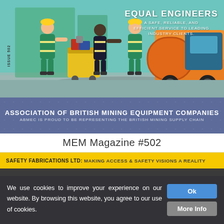[Figure (illustration): Flat style illustration showing three workers in green uniforms and hard hats collecting rubbish/waste with bins, alongside a large orange waste collection truck. A rotated sidebar label reads ISSUE 502.]
EQUAL ENGINEERS
A SAFE, RELIABLE, AND EFFICIENT SERVICE TO LEADING INDUSTRY CLIENTS.
ASSOCIATION OF BRITISH MINING EQUIPMENT COMPANIES
ABMEC IS PROUD TO BE REPRESENTING THE BRITISH MINING SUPPLY CHAIN
MEM Magazine #502
SAFETY FABRICATIONS LTD: MAKING ACCESS & SAFETY VISIONS A REALITY
We use cookies to improve your experience on our website. By browsing this website, you agree to our use of cookies.